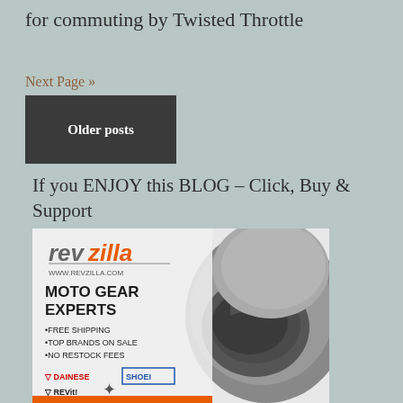for commuting by Twisted Throttle
Next Page »
Older posts
If you ENJOY this BLOG – Click, Buy & Support
[Figure (illustration): RevZilla advertisement banner showing a motorcycle helmet, RevZilla logo, text MOTO GEAR EXPERTS, FREE SHIPPING, TOP BRANDS ON SALE, NO RESTOCK FEES, and brand logos for Dainese, Shoei, Revit, and Alpinestars]